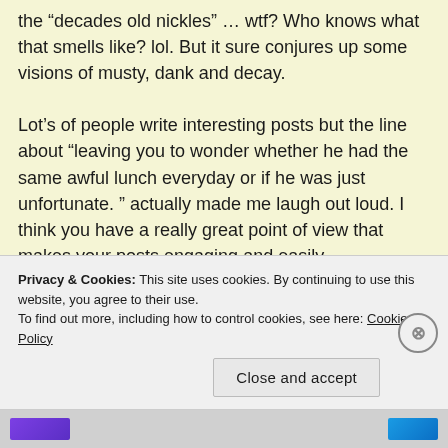the “decades old nickles” … wtf? Who knows what that smells like? lol. But it sure conjures up some visions of musty, dank and decay.

Lot’s of people write interesting posts but the line about “leaving you to wonder whether he had the same awful lunch everyday or if he was just unfortunate.” actually made me laugh out loud. I think you have a really great point of view that makes your posts engaging and easily consumable. It really reminds me of this exotic dancer I used to date
Privacy & Cookies: This site uses cookies. By continuing to use this website, you agree to their use.
To find out more, including how to control cookies, see here: Cookie Policy
Close and accept